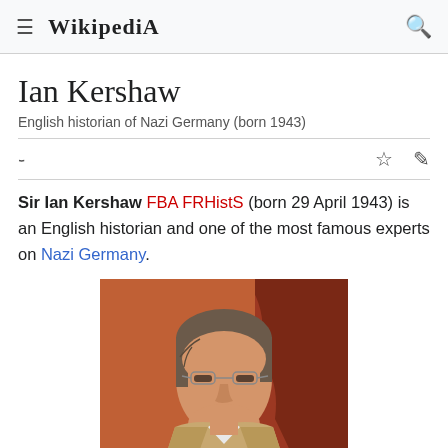Wikipedia
Ian Kershaw
English historian of Nazi Germany (born 1943)
Sir Ian Kershaw FBA FRHistS (born 29 April 1943) is an English historian and one of the most famous experts on Nazi Germany.
[Figure (photo): Photograph of Ian Kershaw, an older man with glasses and grey-brown hair wearing a tan/beige jacket, with a reddish background.]